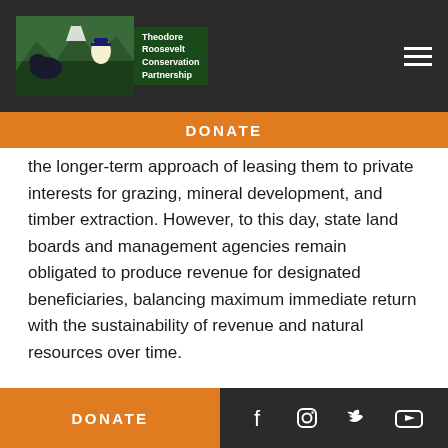[Figure (logo): Theodore Roosevelt Conservation Partnership logo with bison silhouette and mountain/forest background]
DONATE
the longer-term approach of leasing them to private interests for grazing, mineral development, and timber extraction. However, to this day, state land boards and management agencies remain obligated to produce revenue for designated beneficiaries, balancing maximum immediate return with the sustainability of revenue and natural resources over time.

This became a hot talking point at the height of the public land transfer debate in 2016, when an
DONATE
[Figure (infographic): Social media icons: Facebook, Instagram, Twitter, YouTube on dark background]